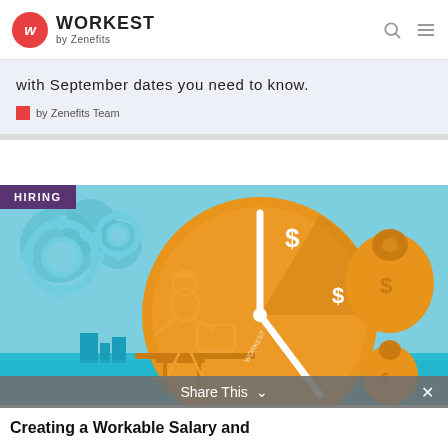WORKEST by Zenefits
with September dates you need to know.
by Zenefits Team
[Figure (illustration): Illustration of a person sitting at a desk working on a laptop in front of a large orange clock, with money bags containing dollar signs, set against a light blue background with gear cogs. HIRING badge in purple overlay.]
HIRING
Share This
Creating a Workable Salary and